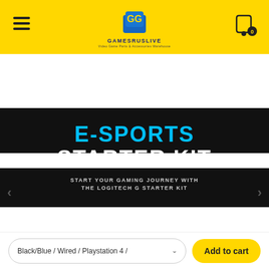[Figure (logo): GamesRUsLive logo with yellow background, hamburger menu on left, shopping cart icon on right showing 0 items]
[Figure (infographic): E-Sports Starter Kit banner on black background with text: E-SPORTS STARTER KIT, START YOUR GAMING JOURNEY WITH THE LOGITECH G STARTER KIT]
[Figure (infographic): Brand logos carousel showing PS5, Xbox Series X, and GoPro logos with left and right navigation arrows]
Black/Blue / Wired / Playstation 4 /
Add to cart